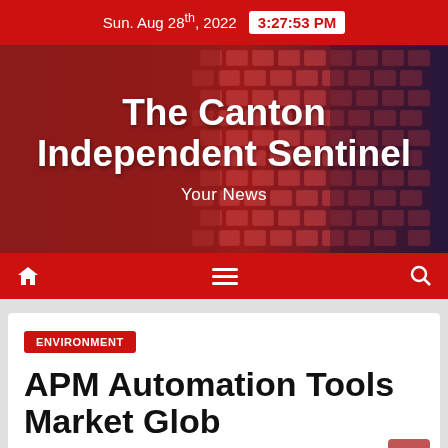Sun. Aug 28th, 2022  3:27:53 PM
The Canton Independent Sentinel
Your News
[Figure (other): Navigation bar with home icon, hamburger menu, and search icon on red background]
ENVIRONMENT
APM Automation Tools Market Glob...